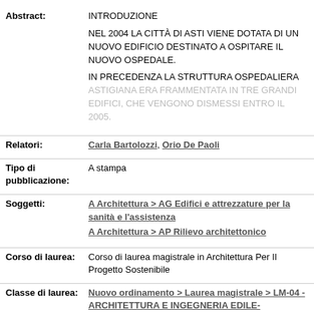Abstract: INTRODUZIONE
NEL 2004 LA CITTÀ DI ASTI VIENE DOTATA DI UN NUOVO EDIFICIO DESTINATO A OSPITARE IL NUOVO OSPEDALE.
IN PRECEDENZA LA STRUTTURA OSPEDALIERA ASTIGIANA ERA FRAMMENTATA IN TRE GRANDI EDIFICI, CHE VENGONO DISMESSI ENTRO IL 2005.
Relatori: Carla Bartolozzi, Orio De Paoli
Tipo di pubblicazione: A stampa
Soggetti: A Architettura > AG Edifici e attrezzature per la sanità e l'assistenza
A Architettura > AP Rilievo architettonico
Corso di laurea: Corso di laurea magistrale in Architettura Per Il Progetto Sostenibile
Classe di laurea: Nuovo ordinamento > Laurea magistrale > LM-04 - ARCHITETTURA E INGEGNERIA EDILE-ARCHITETTURA
Aziende: NON SPECIFICATO